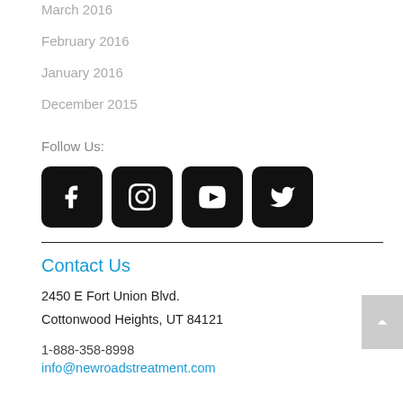March 2016
February 2016
January 2016
December 2015
Follow Us:
[Figure (other): Social media icons: Facebook, Instagram, YouTube, Twitter]
Contact Us
2450 E Fort Union Blvd.
Cottonwood Heights, UT 84121
1-888-358-8998
info@newroadstreatment.com